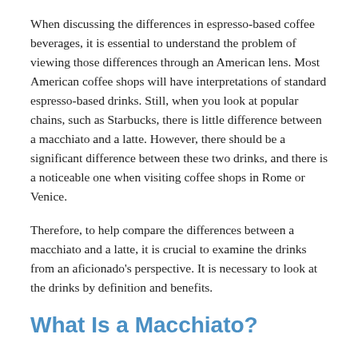When discussing the differences in espresso-based coffee beverages, it is essential to understand the problem of viewing those differences through an American lens. Most American coffee shops will have interpretations of standard espresso-based drinks. Still, when you look at popular chains, such as Starbucks, there is little difference between a macchiato and a latte. However, there should be a significant difference between these two drinks, and there is a noticeable one when visiting coffee shops in Rome or Venice.
Therefore, to help compare the differences between a macchiato and a latte, it is crucial to examine the drinks from an aficionado's perspective. It is necessary to look at the drinks by definition and benefits.
What Is a Macchiato?